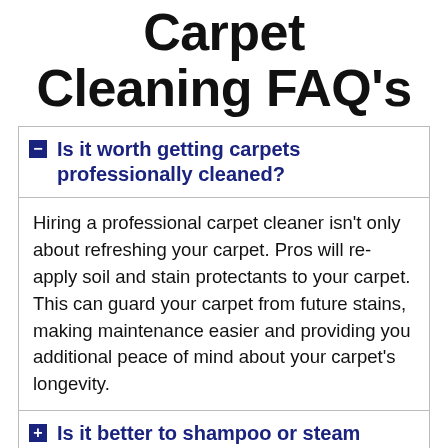Carpet Cleaning FAQ's
Is it worth getting carpets professionally cleaned?
Hiring a professional carpet cleaner isn't only about refreshing your carpet. Pros will re-apply soil and stain protectants to your carpet. This can guard your carpet from future stains, making maintenance easier and providing you additional peace of mind about your carpet's longevity.
Is it better to shampoo or steam clean carpets?